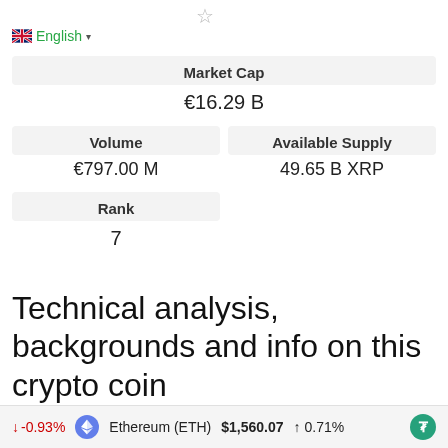English
| Market Cap |
| --- |
| €16.29 B |
| Volume | Available Supply |
| --- | --- |
| €797.00 M | 49.65 B XRP |
| Rank |
| --- |
| 7 |
Technical analysis, backgrounds and info on this crypto coin
↓ -0.93%   Ethereum (ETH)  $1,560.07  ↑ 0.71%